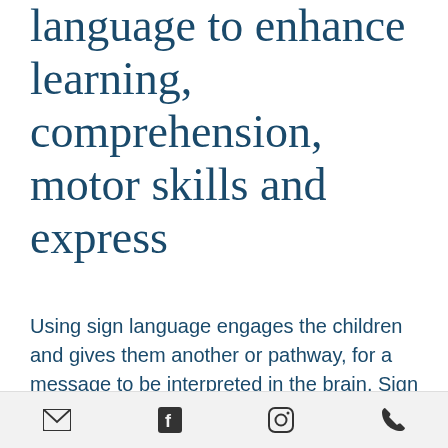language to enhance learning, comprehension, motor skills and express
Using sign language engages the children and gives them another or pathway, for a message to be interpreted in the brain. Sign language is part of our whole body learning approach and can aid in receptive language skills as well. We also use sign language with
[email icon] [facebook icon] [instagram icon] [phone icon]